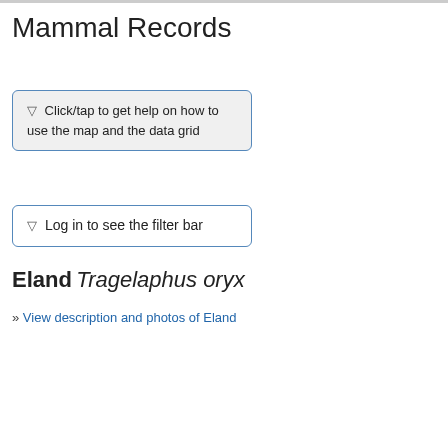Mammal Records
▽ Click/tap to get help on how to use the map and the data grid
▽ Log in to see the filter bar
Eland Tragelaphus oryx
» View description and photos of Eland